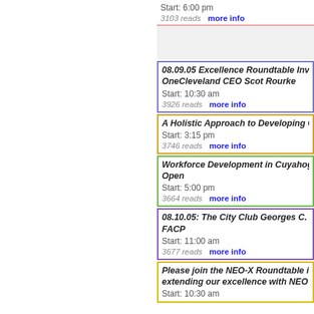Start: 6:00 pm
3103 reads   more info
[Figure (other): Gray advertisement or empty block]
08.09.05 Excellence Roundtable Invitat OneCleveland CEO Scot Rourke
Start: 10:30 am
3926 reads   more info
A Holistic Approach to Developing Citi
Start: 3:15 pm
3746 reads   more info
Workforce Development in Cuyahoga C Open
Start: 5:00 pm
3664 reads   more info
08.10.05: The City Club Georges C. Ber FACP
Start: 11:00 am
3677 reads   more info
Please join the NEO-X Roundtable in N extending our excellence with NEO "ex
Start: 10:30 am